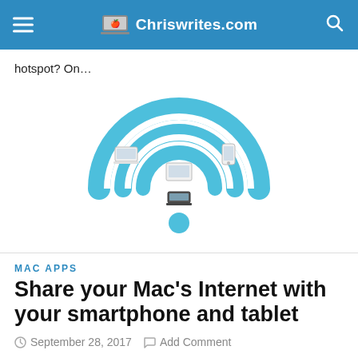Chriswrites.com
hotspot? On…
[Figure (illustration): WiFi symbol illustration with devices (laptop, tablet, smartphone) at the signal arcs and a hotspot dot at the bottom center]
MAC APPS
Share your Mac's Internet with your smartphone and tablet
September 28, 2017  Add Comment